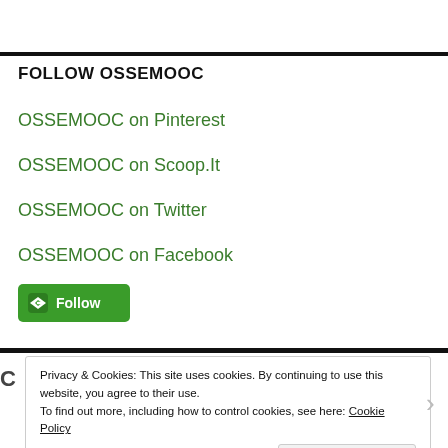FOLLOW OSSEMOOC
OSSEMOOC on Pinterest
OSSEMOOC on Scoop.It
OSSEMOOC on Twitter
OSSEMOOC on Facebook
[Figure (other): Green Follow button with arrow/diamond icon]
Privacy & Cookies: This site uses cookies. By continuing to use this website, you agree to their use. To find out more, including how to control cookies, see here: Cookie Policy
Close and accept